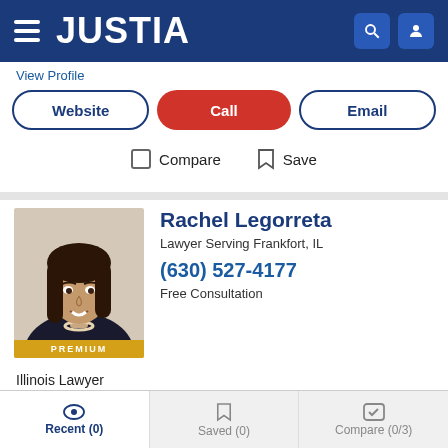JUSTIA
View Profile
Website | Call | Email
Compare | Save
Rachel Legorreta
Lawyer Serving Frankfort, IL
(630) 527-4177
Free Consultation
PREMIUM
Illinois Lawyer
View Profile | Video Conferencing
Recent (0) | Saved (0) | Compare (0/3)